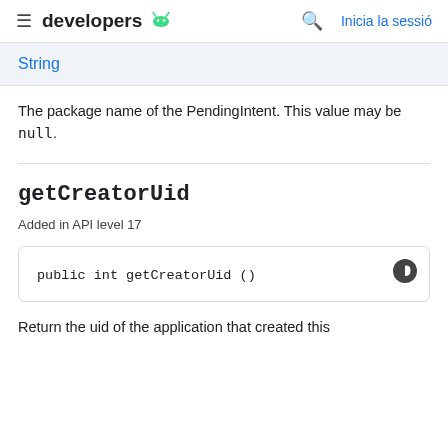developers | Inicia la sessió
String
The package name of the PendingIntent. This value may be null.
getCreatorUid
Added in API level 17
public int getCreatorUid ()
Return the uid of the application that created this